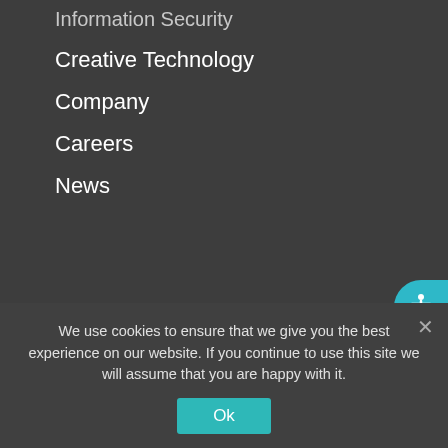Information Security
Creative Technology
Company
Careers
News
978-538-9055
info@gravoc.com
We use cookies to ensure that we give you the best experience on our website. If you continue to use this site we will assume that you are happy with it.
Ok